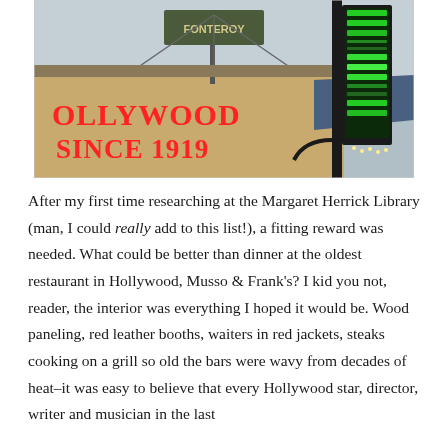[Figure (photo): Exterior photo of Musso & Frank Grill in Hollywood. Neon sign reads 'HOLLYWOOD SINCE 1919' in red cursive letters on a tan building. A green-lit vertical sign on a black pole is visible on the right. A billboard sign reading 'FONTEROY' is visible in the background against a gray sky.]
After my first time researching at the Margaret Herrick Library (man, I could really add to this list!), a fitting reward was needed. What could be better than dinner at the oldest restaurant in Hollywood, Musso & Frank's? I kid you not, reader, the interior was everything I hoped it would be. Wood paneling, red leather booths, waiters in red jackets, steaks cooking on a grill so old the bars were wavy from decades of heat–it was easy to believe that every Hollywood star, director, writer and musician in the last